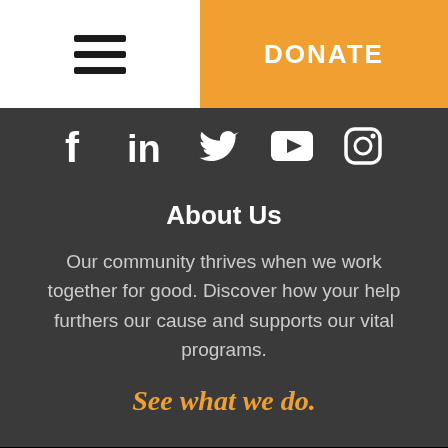DONATE
[Figure (illustration): Social media icons: Facebook, LinkedIn, Twitter, YouTube, Instagram]
About Us
Our community thrives when we work together for good. Discover how your help furthers our cause and supports our vital programs.
See what we do.
© 2022 Junior Orange Bowl
Privacy Policy